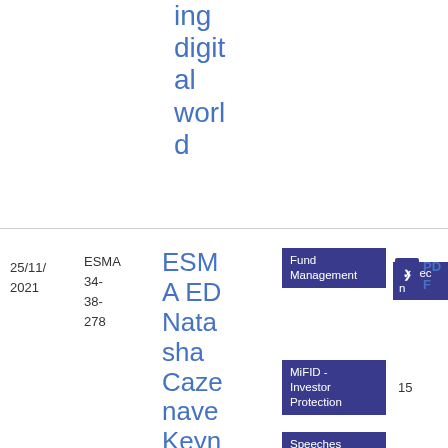ing digital world
25/11/2021
ESMA 34-38-278
ESMA ED Natasha Cazenave Keynote Speech_EFAMA Investment Management
Fund Management
Speech
MiFID - Investor Protection
Speeches
Sustainable finance
PDF
15
9.98 KB